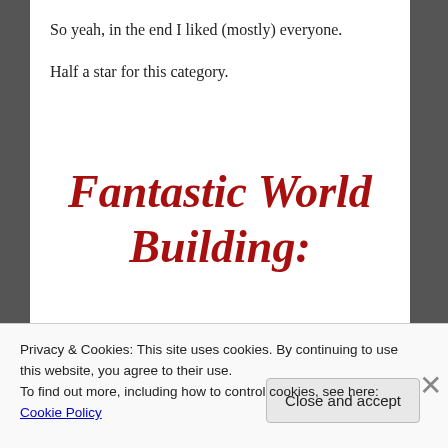So yeah, in the end I liked (mostly) everyone.
Half a star for this category.
Fantastic World Building:
Privacy & Cookies: This site uses cookies. By continuing to use this website, you agree to their use.
To find out more, including how to control cookies, see here: Cookie Policy